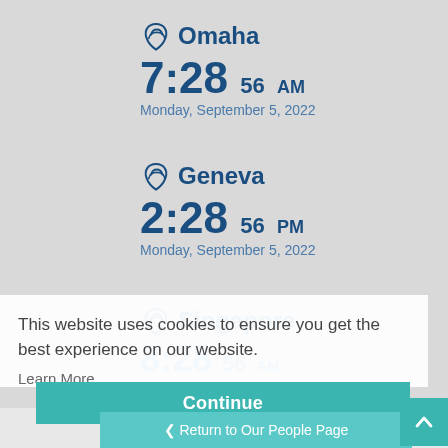Omaha
7:28 56 AM
Monday, September 5, 2022
Geneva
2:28 56 PM
Monday, September 5, 2022
Singapore
8:28 56 AM
Monday, September 5, 2022
This website uses cookies to ensure you get the best experience on our website.
Learn More
Continue
< Return to Our People Page